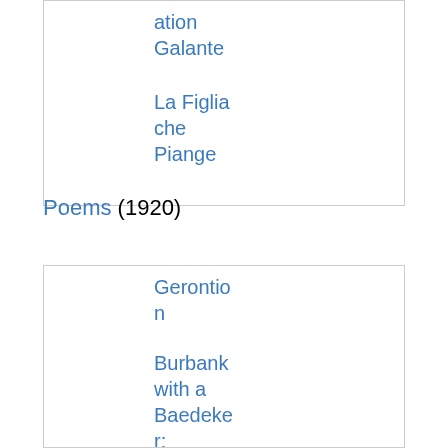ation Galante
La Figlia che Piange
Poems (1920)
Gerontion
Burbank with a Baedeker: Bleistein